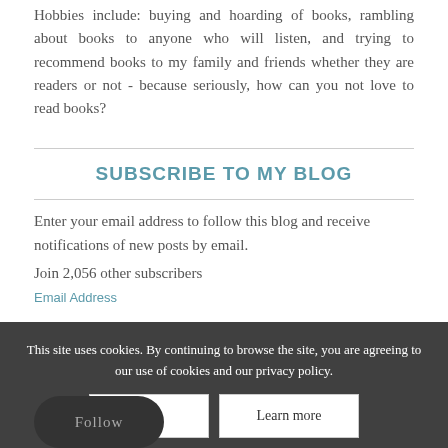Hobbies include: buying and hoarding of books, rambling about books to anyone who will listen, and trying to recommend books to my family and friends whether they are readers or not - because seriously, how can you not love to read books?
SUBSCRIBE TO MY BLOG
Enter your email address to follow this blog and receive notifications of new posts by email.
Join 2,056 other subscribers
Email Address
This site uses cookies. By continuing to browse the site, you are agreeing to our use of cookies and our privacy policy.